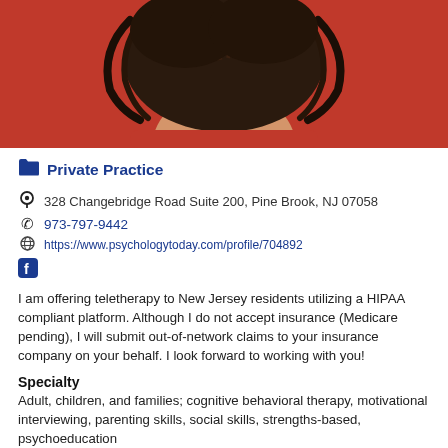[Figure (photo): Partial photo of a person with dark hair wearing a red top, cropped at the top of the page]
Private Practice
328 Changebridge Road Suite 200, Pine Brook, NJ 07058
973-797-9442
https://www.psychologytoday.com/profile/704892
[Figure (logo): Facebook icon (f logo in blue square)]
I am offering teletherapy to New Jersey residents utilizing a HIPAA compliant platform. Although I do not accept insurance (Medicare pending), I will submit out-of-network claims to your insurance company on your behalf. I look forward to working with you!
Specialty
Adult, children, and families; cognitive behavioral therapy, motivational interviewing, parenting skills, social skills, strengths-based, psychoeducation
Degree(s)
MSW, LCSW